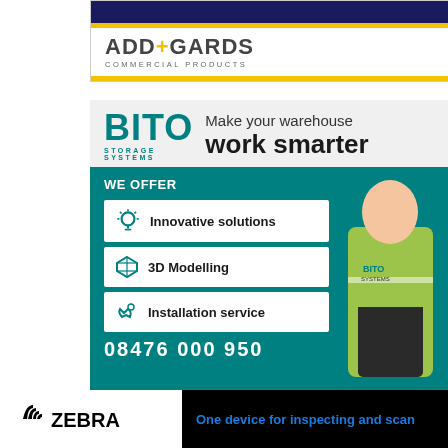[Figure (logo): ADD+GARDS Commercial Products logo advertisement with dark navy top bar, yellow stripe, and logo text]
[Figure (infographic): BITO Storage Systems advertisement: Make your warehouse work smarter. WE OFFER: Innovative solutions, 3D Modelling, Installation service. Phone number partially visible. Person in BITO hi-vis vest.]
[Figure (logo): Zebra Technologies advertisement: One device for inspecting and scanning]